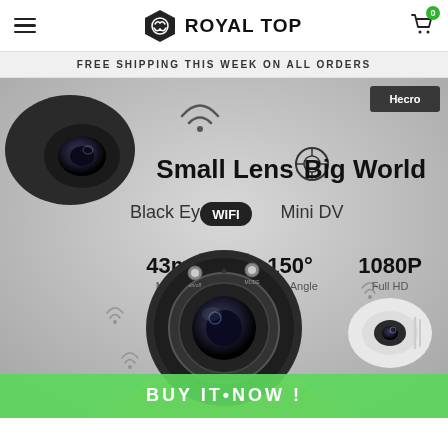ROYAL TOP
FREE SHIPPING THIS WEEK ON ALL ORDERS
[Figure (photo): Product advertisement image for a Black Eye WiFi Mini DV camera. Shows a small black spherical camera held in a hand, with two white mini cameras visible. Text overlay reads: Small Lens Big World, Black Eye WIFI Mini DV, 43mm Mini Size, 150° Wide Angle, 1080P Full HD. WiFi symbol visible. Small partial logo 'Hecro' in top right corner.]
BUY IT NOW !